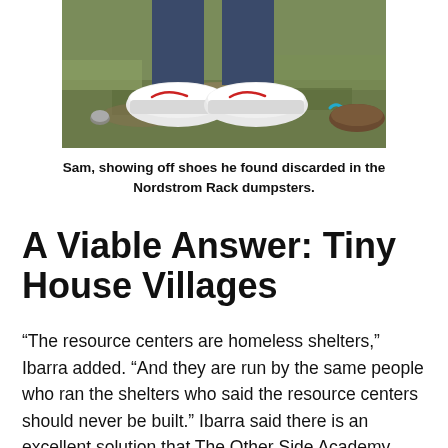[Figure (photo): Close-up photo of a person's feet wearing white Nike sneakers, standing on grass/dirt ground, with other shoes visible nearby including brown leather shoes with blue laces.]
Sam, showing off shoes he found discarded in the Nordstrom Rack dumpsters.
A Viable Answer: Tiny House Villages
“The resource centers are homeless shelters,” Ibarra added. “And they are run by the same people who ran the shelters who said the resource centers should never be built.” Ibarra said there is an excellent solution that The Other Side Academy executive director Joseph Grenny is ready to move forward with, but they are failing to secure a building site due to local stakeholders who don’t